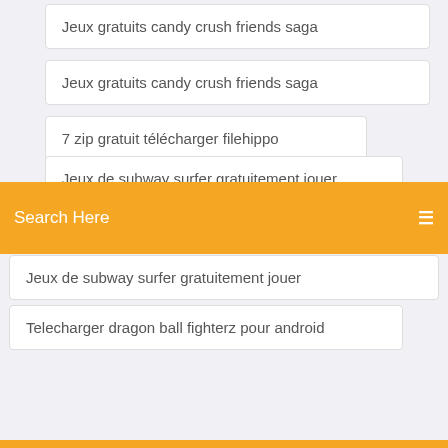Jeux gratuits candy crush friends saga
Jeux gratuits candy crush friends saga
7 zip gratuit télécharger filehippo
Jeux de subway surfer gratuitement jouer
Search Here
Jeux de subway surfer gratuitement jouer (partial)
Telecharger dragon ball fighterz pour android